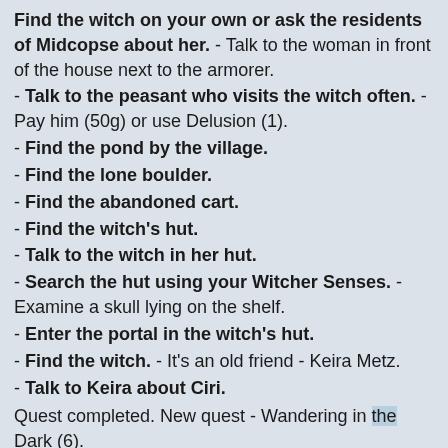Find the witch on your own or ask the residents of Midcopse about her. - Talk to the woman in front of the house next to the armorer.
- Talk to the peasant who visits the witch often. - Pay him (50g) or use Delusion (1).
- Find the pond by the village.
- Find the lone boulder.
- Find the abandoned cart.
- Find the witch's hut.
- Talk to the witch in her hut.
- Search the hut using your Witcher Senses. - Examine a skull lying on the shelf.
- Enter the portal in the witch's hut.
- Find the witch. - It's an old friend - Keira Metz.
- Talk to Keira about Ciri.
Quest completed. New quest - Wandering in the Dark (6).